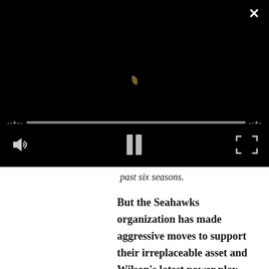[Figure (screenshot): Video player with black background, a small bird/crescent shape in center, a progress bar with dashed end markers, volume icon on lower left, pause button in center, and expand icon on lower right. An X close button is in the top right corner.]
past six seasons.
But the Seahawks organization has made aggressive moves to support their irreplaceable asset and Wilson's latest power play simply isn't enough to buy the